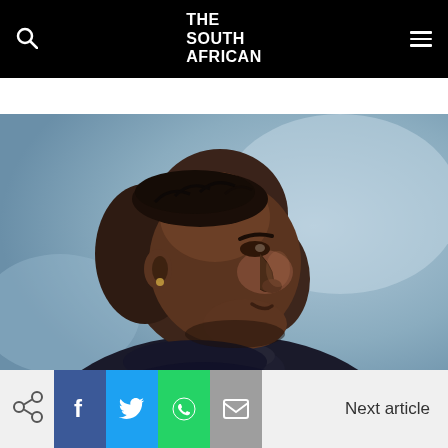THE SOUTH AFRICAN
NEWS  SPORT  CULTURE  LIFESTYLE  BUSINESS
[Figure (photo): Side profile portrait of a Black man wearing a dark turtleneck/fleece jacket, photographed outdoors with a blurred background]
Share icons: Facebook, Twitter, WhatsApp, Email | Next article